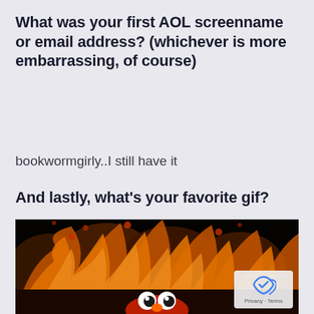What was your first AOL screenname or email address? (whichever is more embarrassing, of course)
bookwormgirly..I still have it
And lastly, what's your favorite gif?
[Figure (photo): Elmo from Sesame Street surrounded by flames, a popular internet gif/meme. The character's eyes and red nose/face are visible at the bottom center of a dark fiery scene.]